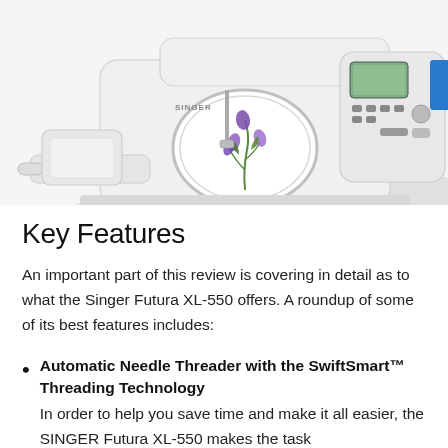[Figure (photo): Singer Futura XL-550 sewing and embroidery machine, white with gray accents, shown with embroidery hoop containing purple floral design. Machine has digital display, control buttons, and attached embroidery arm.]
Key Features
An important part of this review is covering in detail as to what the Singer Futura XL-550 offers. A roundup of some of its best features includes:
Automatic Needle Threader with the SwiftSmart™ Threading Technology
In order to help you save time and make it all easier, the SINGER Futura XL-550 makes the task